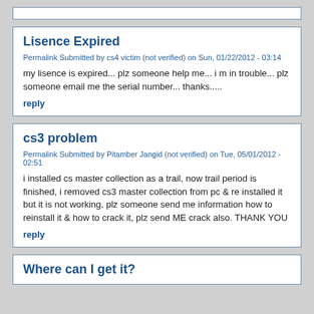Lisence Expired
Permalink Submitted by cs4 victim (not verified) on Sun, 01/22/2012 - 03:14
my lisence is expired... plz someone help me... i m in trouble... plz someone email me the serial number... thanks.....
reply
cs3 problem
Permalink Submitted by Pitamber Jangid (not verified) on Tue, 05/01/2012 - 02:51
i installed cs master collection as a trail, now trail period is finished, i removed cs3 master collection from pc & re installed it but it is not working, plz someone send me information how to reinstall it & how to crack it, plz send ME crack also. THANK YOU
reply
Where can I get it?